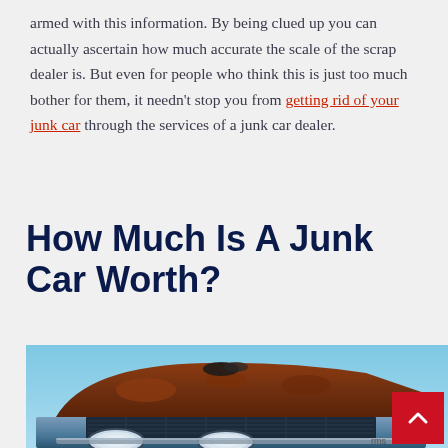armed with this information. By being clued up you can actually ascertain how much accurate the scale of the scrap dealer is. But even for people who think this is just too much bother for them, it needn't stop you from getting rid of your junk car through the services of a junk car dealer.
How Much Is A Junk Car Worth?
[Figure (photo): Photo of a vintage junk car (rusted, old classic car) against a blue sky background, showing the front hood, grille, and headlights.]